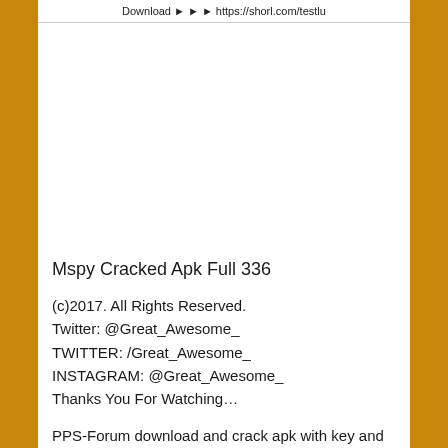Download ► ► ► https://shorl.com/testlu
Mspy Cracked Apk Full 336
(c)2017. All Rights Reserved.
Twitter: @Great_Awesome_
TWITTER: /Great_Awesome_
INSTAGRAM: @Great_Awesome_
Thanks You For Watching…
PPS-Forum download and crack apk with key and unlimited money